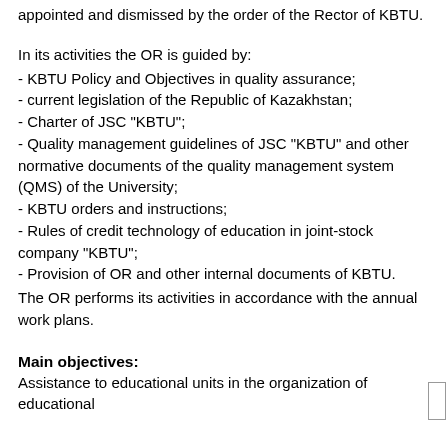appointed and dismissed by the order of the Rector of KBTU.
In its activities the OR is guided by:
- KBTU Policy and Objectives in quality assurance;
- current legislation of the Republic of Kazakhstan;
- Charter of JSC "KBTU";
- Quality management guidelines of JSC "KBTU" and other normative documents of the quality management system (QMS) of the University;
- KBTU orders and instructions;
- Rules of credit technology of education in joint-stock company "KBTU";
- Provision of OR and other internal documents of KBTU.
The OR performs its activities in accordance with the annual work plans.
Main objectives:
Assistance to educational units in the organization of educational